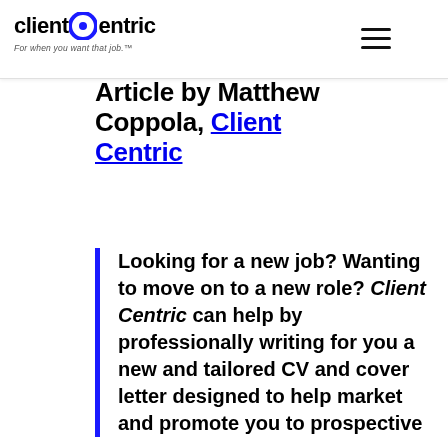clientCentric — For when you want that job.™
Article by Matthew Coppola, Client Centric
Looking for a new job? Wanting to move on to a new role? Client Centric can help by professionally writing for you a new and tailored CV and cover letter designed to help market and promote you to prospective